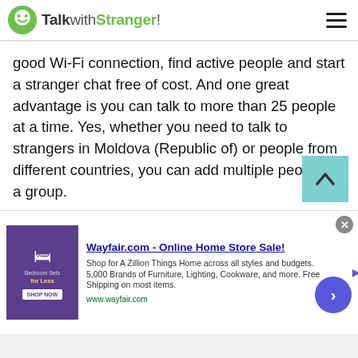TalkwithStranger!
good Wi-Fi connection, find active people and start a stranger chat free of cost. And one great advantage is you can talk to more than 25 people at a time. Yes, whether you need to talk to strangers in Moldova (Republic of) or people from different countries, you can add multiple people in a group.
So, if you are a student, employee or businessman, why not avail the perks of this free conference calling app? Isn't it great to have a group study, family group call, business meeting call while s…ing at ho…? Of course it is. Besi…
[Figure (screenshot): Wayfair.com advertisement banner - Online Home Store Sale! with bedroom sets image and shop link www.wayfair.com]